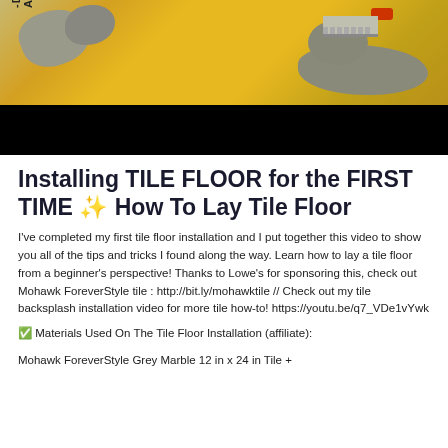[Figure (photo): Photo of tile installation materials: yellow DITRA membrane with mortar and a notched trowel on top, with a black bar below (video thumbnail).]
Installing TILE FLOOR for the FIRST TIME ✨ How To Lay Tile Floor
I've completed my first tile floor installation and I put together this video to show you all of the tips and tricks I found along the way. Learn how to lay a tile floor from a beginner's perspective! Thanks to Lowe's for sponsoring this, check out Mohawk ForeverStyle tile : http://bit.ly/mohawktile // Check out my tile backsplash installation video for more tile how-to! https://youtu.be/q7_VDe1vYwk
✅ Materials Used On The Tile Floor Installation (affiliate):
Mohawk ForeverStyle Grey Marble 12 in x 24 in Tile +